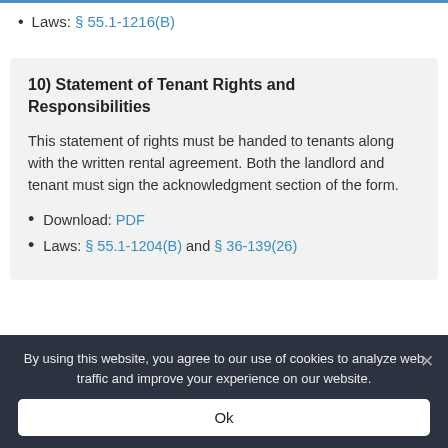Laws: § 55.1-1216(B)
10) Statement of Tenant Rights and Responsibilities
This statement of rights must be handed to tenants along with the written rental agreement. Both the landlord and tenant must sign the acknowledgment section of the form.
Download: PDF
Laws: § 55.1-1204(B) and § 36-139(26)
By using this website, you agree to our use of cookies to analyze web traffic and improve your experience on our website.